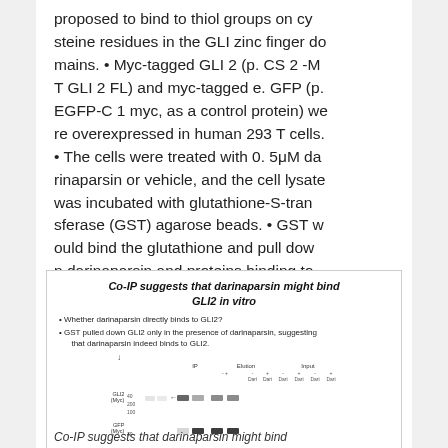proposed to bind to thiol groups on cysteine residues in the GLI zinc finger domains. • Myc-tagged GLI 2 (p. CS 2 -MT GLI 2 FL) and myc-tagged e. GFP (p. EGFP-C 1 myc, as a control protein) were overexpressed in human 293 T cells. • The cells were treated with 0. 5μM darinaparsin or vehicle, and the cell lysate was incubated with glutathione-S-transferase (GST) agarose beads. • GST would bind the glutathione and pull down darinaparsin and proteins binding to it.
[Figure (other): Slide box titled 'Co-IP suggests that darinaparsin might bind GLI2 in vitro' with two bullet points and a western blot image showing GLI2 (Myc) and GFP (Myc) bands across IP, Elution, and Input lanes with and without darinaparsin.]
Co-IP suggests that darinaparsin might bind